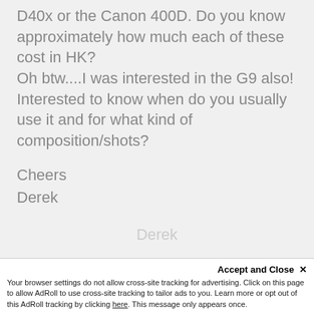D40x or the Canon 400D. Do you know approximately how much each of these cost in HK?
Oh btw....I was interested in the G9 also! Interested to know when do you usually use it and for what kind of composition/shots?
Cheers
Derek
Derek
Accept and Close ×
Your browser settings do not allow cross-site tracking for advertising. Click on this page to allow AdRoll to use cross-site tracking to tailor ads to you. Learn more or opt out of this AdRoll tracking by clicking here. This message only appears once.